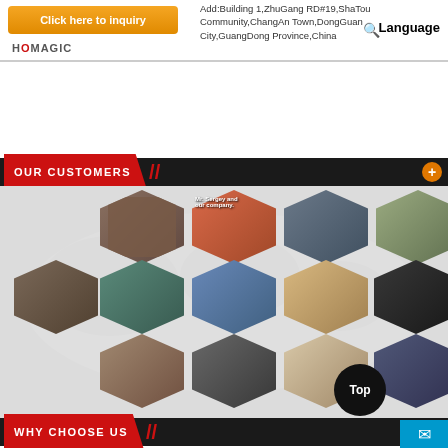[Figure (screenshot): Website header with orange 'Click here to inquiry' button, company address, language selector, and HOMAGIC logo]
OUR CUSTOMERS
[Figure (photo): Honeycomb-shaped collage of customer visit photos showing groups of people at company facilities, meetings, and site visits against a world map background]
WHY CHOOSE US